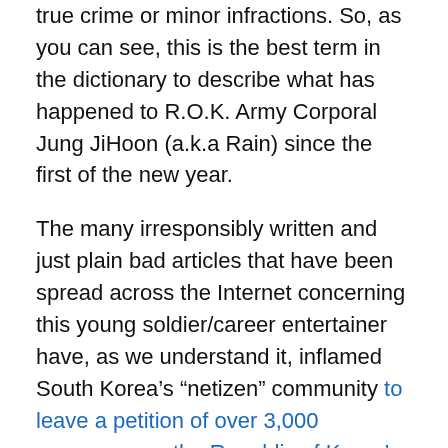true crime or minor infractions. So, as you can see, this is the best term in the dictionary to describe what has happened to R.O.K. Army Corporal Jung JiHoon (a.k.a Rain) since the first of the new year.
The many irresponsibly written and just plain bad articles that have been spread across the Internet concerning this young soldier/career entertainer have, as we understand it, inflamed South Korea's “netizen” community to leave a petition of over 3,000 messages on the Republic of Korea's military website, calling for everything from Rain's head on a platter to prison to an entire repeat term of his mandatory service. And why is that, you ask? Was he caught smuggling South Korean secrets to the North? Running a black market for military weapons underground? Committing fraud by living at home for 15-months and not serving any of his time?